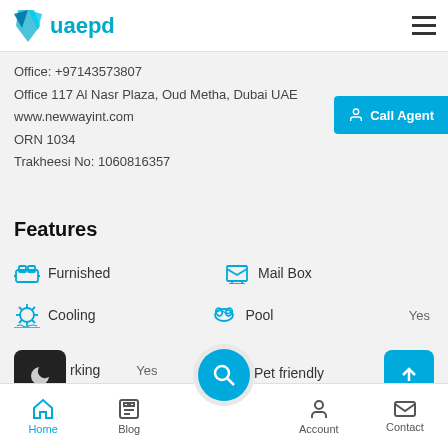uaepd
Office: +97143573807
Office 117 Al Nasr Plaza, Oud Metha, Dubai UAE
www.newwayint.com
ORN 1034
Trakheesi No: 1060816357
Features
Furnished
Mail Box
Cooling
Pool  Yes
rking  Yes
Pet friendly
Gym
Home  Blog  Account  Contact